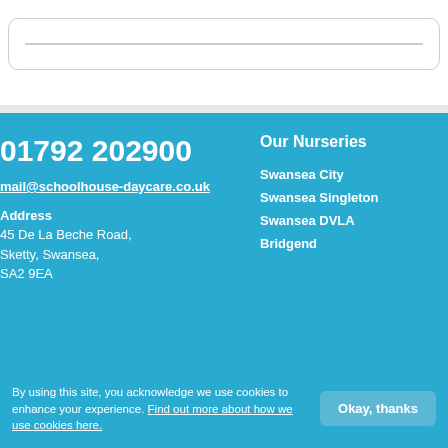[Figure (other): Search input box with a horizontal line inside, rounded rectangle border]
01792 202900
mail@schoolhouse-daycare.co.uk
Address
45 De La Beche Road,
Sketty, Swansea,
SA2 9EA
Our Nurseries
Swansea City
Swansea Singleton
Swansea DVLA
Bridgend
By using this site, you acknowledge we use cookies to enhance your experience. Find out more about how we use cookies here.